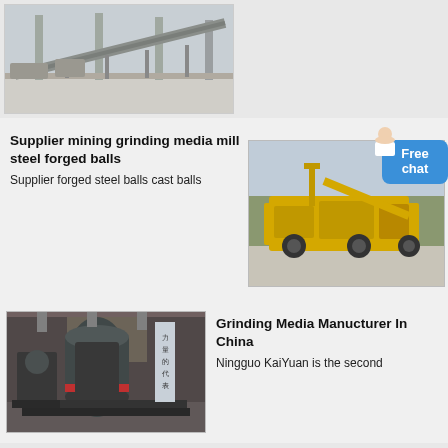[Figure (photo): Industrial mining/aggregate plant with conveyor belts and structural steel framework, outdoor setting]
[Figure (photo): Yellow mobile crushing/mining equipment machine outdoors with trees in background]
Supplier mining grinding media mill steel forged balls
Supplier forged steel balls cast balls
[Figure (photo): Industrial grinding mill machinery inside a factory/warehouse with Chinese text on banners]
Grinding Media Manucturer In China
Ningguo KaiYuan is the second